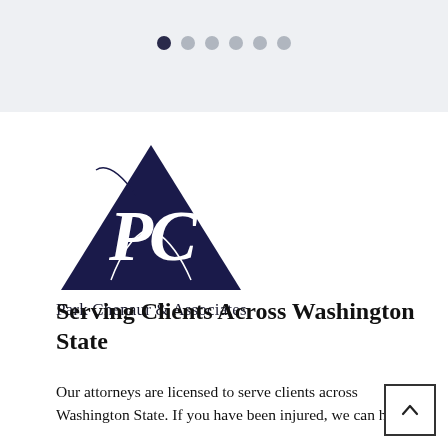[Figure (other): Carousel navigation dots — six dots, first one filled dark, rest gray]
[Figure (logo): Park Chenaur & Associates monogram logo — ornate script PC letters in a triangular dark navy shape]
Park Chenaur & Associates
Serving Clients Across Washington State
Our attorneys are licensed to serve clients across Washington State. If you have been injured, we can help.